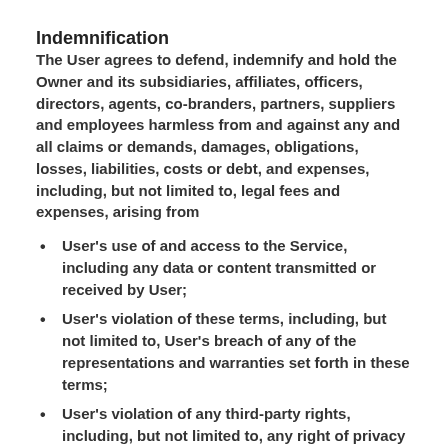Indemnification
The User agrees to defend, indemnify and hold the Owner and its subsidiaries, affiliates, officers, directors, agents, co-branders, partners, suppliers and employees harmless from and against any and all claims or demands, damages, obligations, losses, liabilities, costs or debt, and expenses, including, but not limited to, legal fees and expenses, arising from
User's use of and access to the Service, including any data or content transmitted or received by User;
User's violation of these terms, including, but not limited to, User's breach of any of the representations and warranties set forth in these terms;
User's violation of any third-party rights, including, but not limited to, any right of privacy or intellectual property rights;
User's violation of any statutory law, rule, or regulation;
any content that is submitted from User's account,